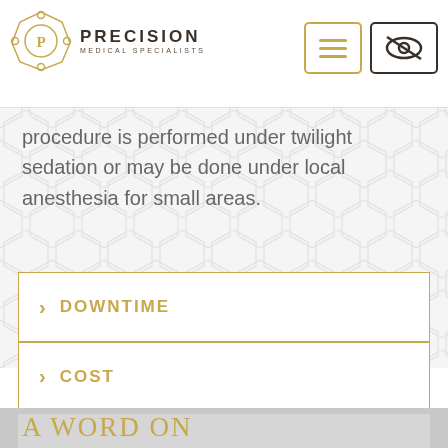[Figure (logo): Precision Medical Specialists logo with circular ornamental emblem and text]
procedure is performed under twilight sedation or may be done under local anesthesia for small areas.
> DOWNTIME
> COST
A WORD ON